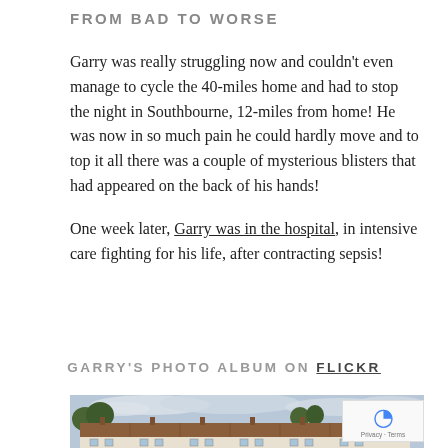FROM BAD TO WORSE
Garry was really struggling now and couldn't even manage to cycle the 40-miles home and had to stop the night in Southbourne, 12-miles from home! He was now in so much pain he could hardly move and to top it all there was a couple of mysterious blisters that had appeared on the back of his hands!
One week later, Garry was in the hospital, in intensive care fighting for his life, after contracting sepsis!
GARRY'S PHOTO ALBUM ON FLICKR
[Figure (photo): A row of old English terraced cottages with brown/orange tiled roofs, white walls, and trees behind them under a cloudy sky. A street scene in Southbourne or similar English village.]